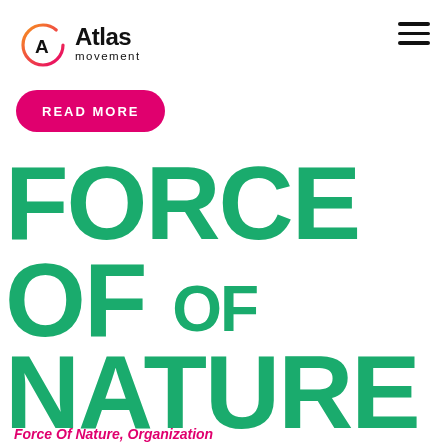[Figure (logo): Atlas Movement logo with circular gradient icon (orange-to-pink arc with A symbol) and text 'Atlas movement']
[Figure (other): Hamburger menu icon (three horizontal bars)]
READ MORE
FORCE OF NATURE
Force Of Nature, Organization